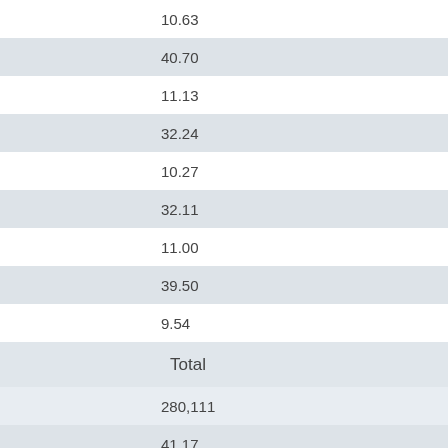|  | 10.63 |
|  | 40.70 |
|  | 11.13 |
|  | 32.24 |
|  | 10.27 |
|  | 32.11 |
|  | 11.00 |
|  | 39.50 |
|  | 9.54 |
| Total |  |
|  | 280,111 |
|  | 41.17 |